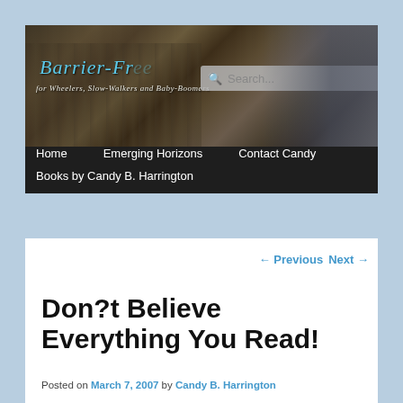[Figure (screenshot): Website header banner for Barrier-Free travel blog showing a street scene with storefronts and a search box overlay. Tagline reads 'for Wheelers, Slow-Walkers and Baby-Boomers']
Home   Emerging Horizons   Contact Candy   Books by Candy B. Harrington
← Previous   Next →
Don?t Believe Everything You Read!
Posted on March 7, 2007 by Candy B. Harrington